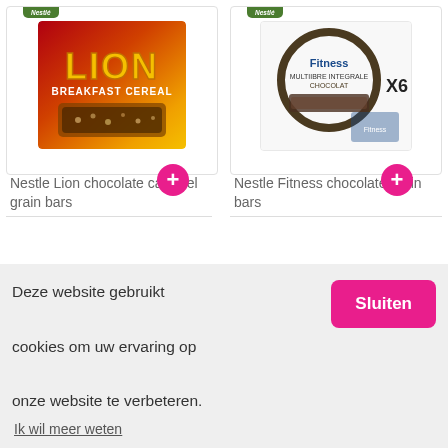[Figure (photo): Product image of Nestle Lion Breakfast Cereal chocolate caramel grain bars box with orange/red branding and lion graphic]
[Figure (photo): Product image of Nestle Fitness chocolate grain bars x6 pack with blue and white branding]
Nestle Lion chocolate caramel grain bars
Nestle Fitness chocolate grain bars
Deze website gebruikt cookies om uw ervaring op onze website te verbeteren.
Sluiten
Ik wil meer weten